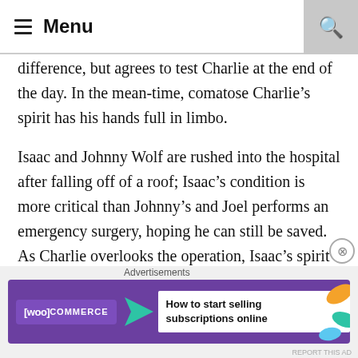Menu
difference, but agrees to test Charlie at the end of the day. In the mean-time, comatose Charlie’s spirit has his hands full in limbo.
Isaac and Johnny Wolf are rushed into the hospital after falling off of a roof; Isaac’s condition is more critical than Johnny’s and Joel performs an emergency surgery, hoping he can still be saved. As Charlie overlooks the operation, Isaac’s spirit appears by his side and watches in confusion as his body bleeds out and he dies. As Isaac walks with Charlie through the hospital halls, he wonders why his spirit is lingering; Charlie is still trying to figure out the afterlife, but
Advertisements
[Figure (other): WooCommerce advertisement banner: purple background with WooCommerce logo, teal arrow, and text 'How to start selling subscriptions online' with colorful leaf decorations on the right.]